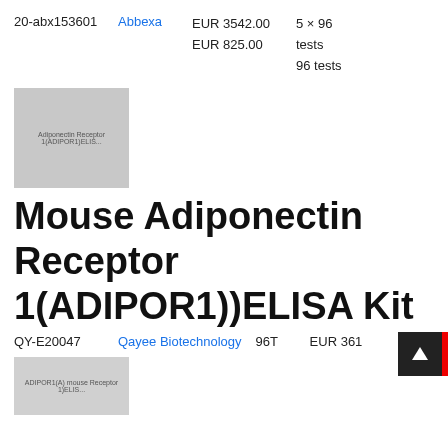20-abx153601
Abbexa
EUR 3542.00
EUR 825.00
5 × 96 tests
96 tests
[Figure (photo): Thumbnail image of Adiponectin Receptor 1 (ADIPOR1) ELISA kit product]
Mouse Adiponectin Receptor 1(ADIPOR1))ELISA Kit
QY-E20047
Qayee Biotechnology
96T
EUR 361
[Figure (photo): Thumbnail image of ADIPOR1 mouse Receptor 1 ELISA product]